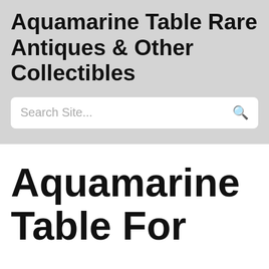Aquamarine Table Rare Antiques & Other Collectibles
Search Site...
Aquamarine Table For